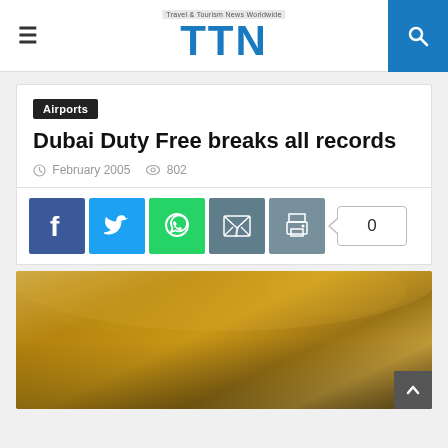TTN — Travel & Tourism News Worldwide
Airports
Dubai Duty Free breaks all records
February 2005  802
[Figure (screenshot): Social share buttons: Facebook, Twitter, WhatsApp, Email, Print, and a count badge showing 0]
[Figure (photo): Interior of a luxury duty free shopping area with golden decorative elements and warm lighting]